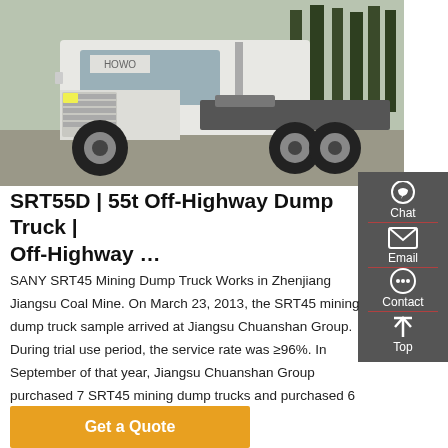[Figure (photo): White HOWO heavy-duty truck (tractor unit) parked in a lot with trees in the background]
SRT55D | 55t Off-Highway Dump Truck | Off-Highway …
SANY SRT45 Mining Dump Truck Works in Zhenjiang Jiangsu Coal Mine. On March 23, 2013, the SRT45 mining dump truck sample arrived at Jiangsu Chuanshan Group. During trial use period, the service rate was ≥96%. In September of that year, Jiangsu Chuanshan Group purchased 7 SRT45 mining dump trucks and purchased 6 trucks in 2014.
Get a Quote